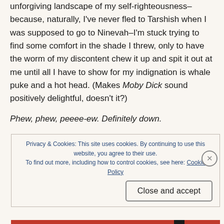unforgiving landscape of my self-righteousness–because, naturally, I've never fled to Tarshish when I was supposed to go to Ninevah–I'm stuck trying to find some comfort in the shade I threw, only to have the worm of my discontent chew it up and spit it out at me until all I have to show for my indignation is whale puke and a hot head. (Makes Moby Dick sound positively delightful, doesn't it?)
Phew, phew, peeee-ew. Definitely down.
Privacy & Cookies: This site uses cookies. By continuing to use this website, you agree to their use. To find out more, including how to control cookies, see here: Cookie Policy Close and accept